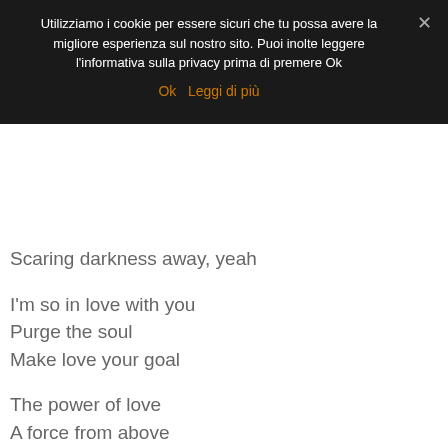Utilizziamo i cookie per essere sicuri che tu possa avere la migliore esperienza sul nostro sito. Puoi inolte leggere l'informativa sulla privacy prima di premere Ok
Ok  Leggi di più
Scaring darkness away, yeah
I'm so in love with you
Purge the soul
Make love your goal
The power of love
A force from above
Cleaning my soul
Flame on, burn desire
Love with tongues of fire
Purge the soul
Make love your goal